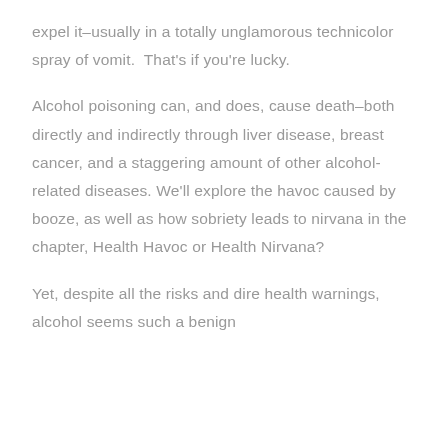expel it–usually in a totally unglamorous technicolor spray of vomit.  That's if you're lucky.
Alcohol poisoning can, and does, cause death–both directly and indirectly through liver disease, breast cancer, and a staggering amount of other alcohol-related diseases. We'll explore the havoc caused by booze, as well as how sobriety leads to nirvana in the chapter, Health Havoc or Health Nirvana?
Yet, despite all the risks and dire health warnings, alcohol seems such a benign...